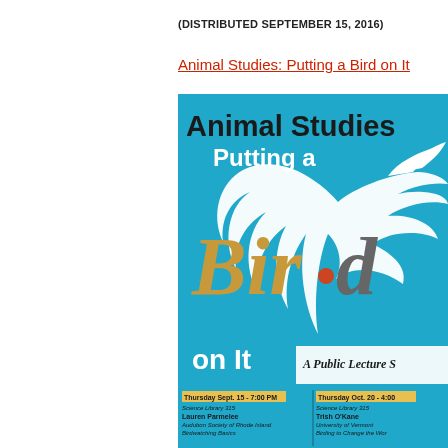(DISTRIBUTED SEPTEMBER 15, 2016)
Animal Studies: Putting a Bird on It
[Figure (illustration): Promotional poster for 'Animal Studies: Putting a Bird on It' public lecture series. Teal/cyan background with a white bird silhouette, large stylized italic text reading 'Bird' in gold and gray, 'Animal Studies' in black bold, 'Putting a' in white bold, 'on It' in white bold, 'A Public Lecture S[eries]' in italic script. Bottom section lists two events: Thursday Sept. 15 - 7:00 PM at Science Library 315 with Lauren Parmelee, Audubon Society of Rhode Island, Birdwatching Basics; and Thursday Oct. 20 - 4:00[PM] at Science Library 315 with Trish O'Kane, University of Vermont, Birding to Change the Wor[ld].]